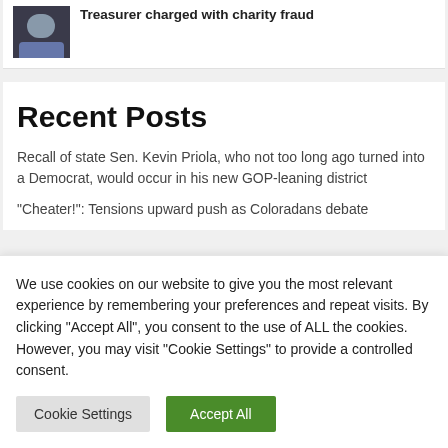Treasurer charged with charity fraud
Recent Posts
Recall of state Sen. Kevin Priola, who not too long ago turned into a Democrat, would occur in his new GOP-leaning district
"Cheater!": Tensions upward push as Coloradans debate
We use cookies on our website to give you the most relevant experience by remembering your preferences and repeat visits. By clicking "Accept All", you consent to the use of ALL the cookies. However, you may visit "Cookie Settings" to provide a controlled consent.